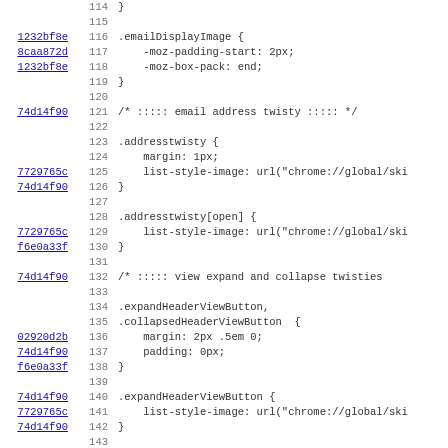[Figure (screenshot): Source code diff viewer showing CSS code lines 114-146 with line numbers, commit hashes as hyperlinks, and code content including .emailDisplayImage, .addresstwisty, .expandHeaderViewButton, and .collapsedHeaderViewButton CSS rules]